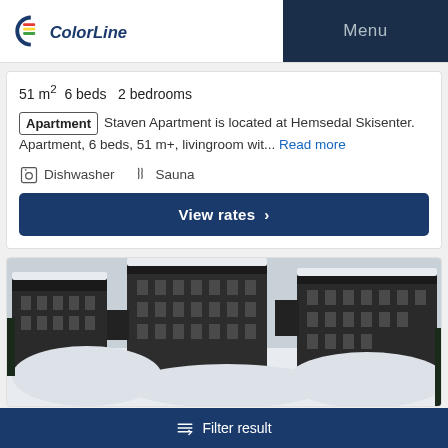Color Line | Menu
51 m² 6 beds 2 bedrooms
Apartment Staven Apartment is located at Hemsedal Skisenter. Apartment, 6 beds, 51 m+, livingroom wit... Read more
Dishwasher  Sauna
View rates
[Figure (photo): Aerial/elevated view of snow-covered ski resort buildings (Hemsedal Skisenter), multiple dark timber-clad apartment blocks surrounded by deep snow]
Filter result